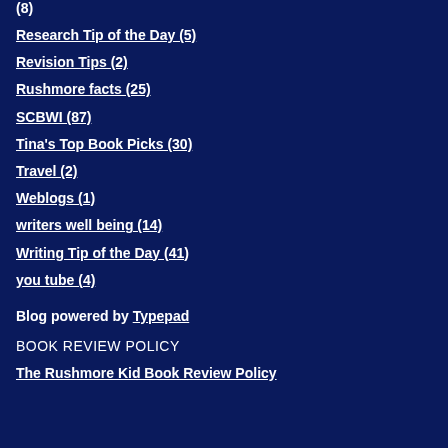(8)
Research Tip of the Day (5)
Revision Tips (2)
Rushmore facts (25)
SCBWI (87)
Tina's Top Book Picks (30)
Travel (2)
Weblogs (1)
writers well being (14)
Writing Tip of the Day (41)
you tube (4)
Blog powered by Typepad
BOOK REVIEW POLICY
The Rushmore Kid Book Review Policy